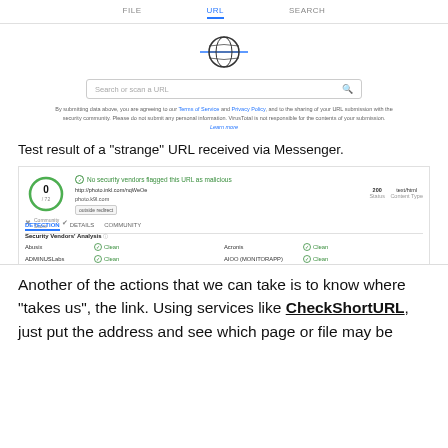[Figure (screenshot): VirusTotal URL scan interface showing FILE, URL, SEARCH tabs with globe icon, search bar, and disclaimer text about terms of service and privacy policy.]
Test result of a "strange" URL received via Messenger.
[Figure (screenshot): VirusTotal scan result showing score 0/72, 'No security vendors flagged this URL as malicious', URL http://photo.inkl.com/nqWeOe, domain photo.k9l.com, outside redirect badge, 200 Status, text/html Content Type, DETECTION tab active, Security Vendors' Analysis table with Abusix Clean, ADMINUSLabs Clean, AlienVault Clean, Antiy-AVL Clean, Artists Against 419 Clean on left; Acronis Clean, AIOO (MONITORAPP) Clean, alphaMountain.ai Clean, Armis Clean, Avira Clean on right.]
Another of the actions that we can take is to know where "takes us", the link. Using services like CheckShortURL, just put the address and see which page or file may be